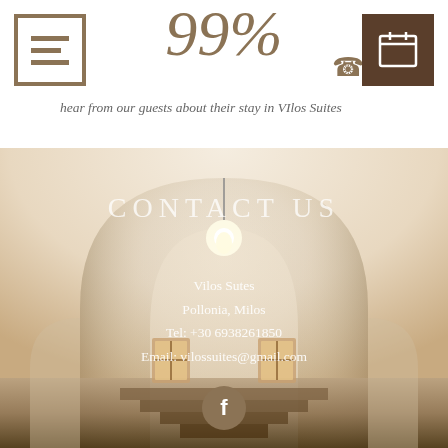99%
hear from our guests about their stay in VIlos Suites
[Figure (photo): Interior corridor of Vilos Suites hotel showing arched whitewashed walls, warm lighting, ornate windows, and stone steps]
CONTACT US
Vilos Sutes
Pollonia, Milos
Tel: +30 6938261850
Email: vilossuites@gmail.com